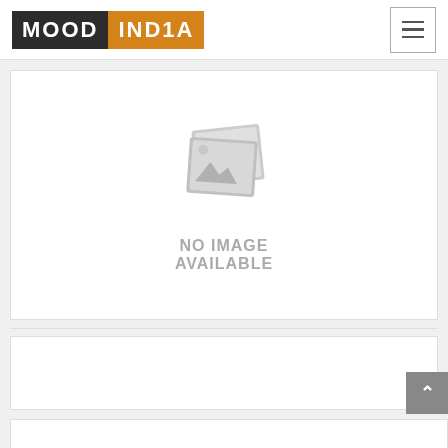[Figure (logo): MOOD INDIA logo: 'MOOD' in white text on dark grey background, 'INDIA' in white text on orange background]
[Figure (other): Hamburger menu icon button with three horizontal lines, bordered square button]
[Figure (other): No image available placeholder: two overlapping grey image frames icons with mountains/landscape silhouette, with text 'NO IMAGE AVAILABLE' below in grey]